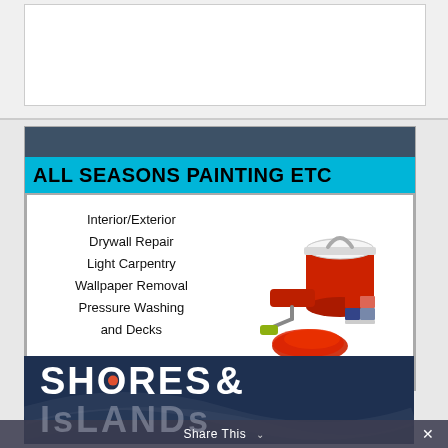[Figure (other): White rectangle placeholder area at top of page]
ALL SEASONS PAINTING ETC
Interior/Exterior
Drywall Repair
Light Carpentry
Wallpaper Removal
Pressure Washing
and Decks
419-624-0383
[Figure (illustration): Illustration of paint can, paint roller, and color swatches in red tones]
[Figure (logo): Shores & Islands logo with dark navy background, large white bold text SHORES& with orange dot in O, and ISLANDS below in gray]
Share This ×